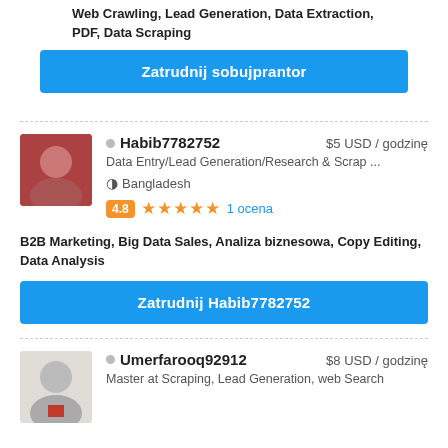Web Crawling, Lead Generation, Data Extraction, PDF, Data Scraping
Zatrudnij sobujprantor
Habib7782752 · $5 USD / godzinę · Data Entry/Lead Generation/Research & Scrap ... · Bangladesh · 4.8 ★★★★★ 1 ocena · B2B Marketing, Big Data Sales, Analiza biznesowa, Copy Editing, Data Analysis
Zatrudnij Habib7782752
Umerfarooq92912 · $8 USD / godzinę · Master at Scraping, Lead Generation, web Search